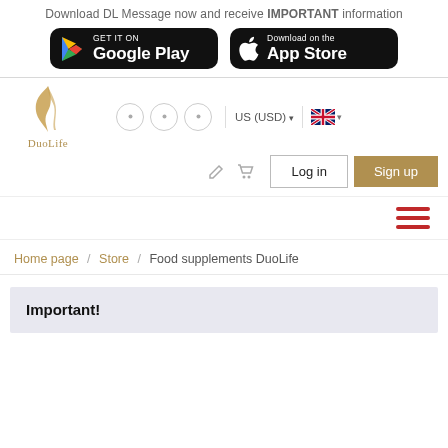Download DL Message now and receive IMPORTANT information
[Figure (screenshot): Google Play store download button (black rounded rectangle with Play icon)]
[Figure (screenshot): Apple App Store download button (black rounded rectangle with Apple icon)]
[Figure (logo): DuoLife logo: golden curling flame/leaf SVG above text 'DuoLife']
US (USD)
Log in
Sign up
Home page / Store / Food supplements DuoLife
Important!